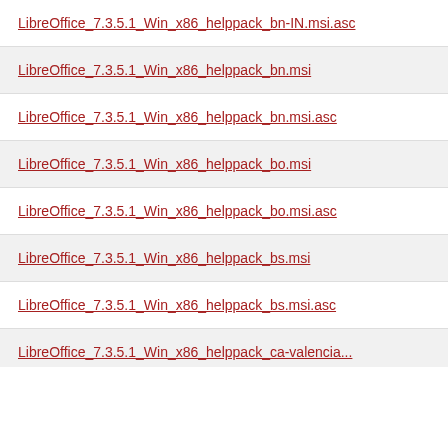LibreOffice_7.3.5.1_Win_x86_helppack_bn-IN.msi.asc
LibreOffice_7.3.5.1_Win_x86_helppack_bn.msi
LibreOffice_7.3.5.1_Win_x86_helppack_bn.msi.asc
LibreOffice_7.3.5.1_Win_x86_helppack_bo.msi
LibreOffice_7.3.5.1_Win_x86_helppack_bo.msi.asc
LibreOffice_7.3.5.1_Win_x86_helppack_bs.msi
LibreOffice_7.3.5.1_Win_x86_helppack_bs.msi.asc
LibreOffice_7.3.5.1_Win_x86_helppack_ca-valencia...